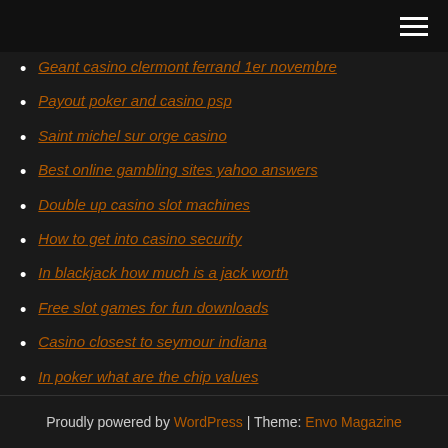Navigation menu header bar
Geant casino clermont ferrand 1er novembre
Payout poker and casino psp
Saint michel sur orge casino
Best online gambling sites yahoo answers
Double up casino slot machines
How to get into casino security
In blackjack how much is a jack worth
Free slot games for fun downloads
Casino closest to seymour indiana
In poker what are the chip values
Poker online software and borgata poker
Proudly powered by WordPress | Theme: Envo Magazine